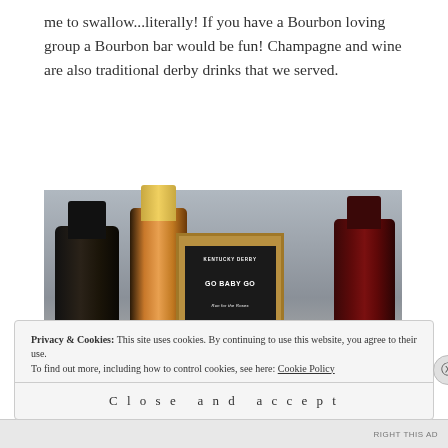me to swallow...literally! If you have a Bourbon loving group a Bourbon bar would be fun! Champagne and wine are also traditional derby drinks that we served.
[Figure (photo): Photo of two wine/champagne bottles flanking a framed Kentucky Derby themed sign with text: KENTUCKY DERBY, GO BABY GO, Run for the Roses, LUCKY, WEAR YOUR HAT, CHURCHILL DOWNS, JOCKEY SILKS, DERBY PIE, and a horseshoe graphic.]
Privacy & Cookies: This site uses cookies. By continuing to use this website, you agree to their use.
To find out more, including how to control cookies, see here: Cookie Policy
Close and accept
RIGHT THIS AD